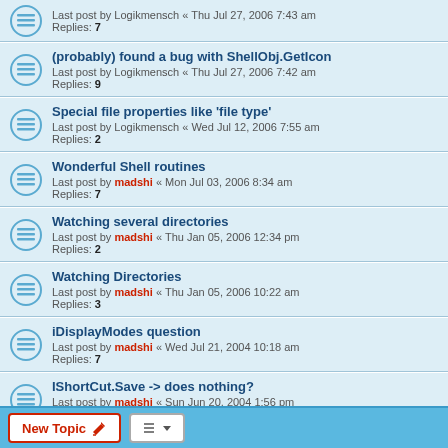Last post by Logikmensch « Thu Jul 27, 2006 7:43 am
Replies: 7
(probably) found a bug with ShellObj.GetIcon
Last post by Logikmensch « Thu Jul 27, 2006 7:42 am
Replies: 9
Special file properties like 'file type'
Last post by Logikmensch « Wed Jul 12, 2006 7:55 am
Replies: 2
Wonderful Shell routines
Last post by madshi « Mon Jul 03, 2006 8:34 am
Replies: 7
Watching several directories
Last post by madshi « Thu Jan 05, 2006 12:34 pm
Replies: 2
Watching Directories
Last post by madshi « Thu Jan 05, 2006 10:22 am
Replies: 3
iDisplayModes question
Last post by madshi « Wed Jul 21, 2004 10:18 am
Replies: 7
IShortCut.Save -> does nothing?
Last post by madshi « Sun Jun 20, 2004 1:56 pm
Replies: 3
startbutton open, create or something like...
Last post by madshi « Mon Jun 14, 2004 5:58 pm
Replies: 3
New Topic | Sort